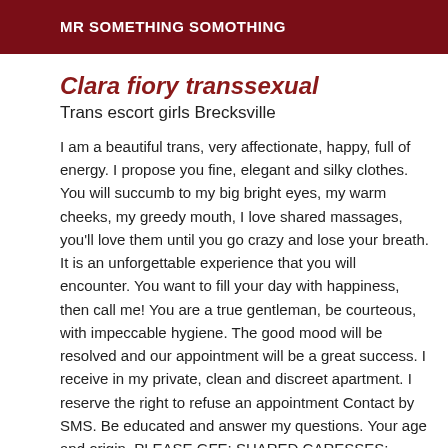MR SOMETHING SOMOTHING
Clara fiory transsexual
Trans escort girls Brecksville
I am a beautiful trans, very affectionate, happy, full of energy. I propose you fine, elegant and silky clothes. You will succumb to my big bright eyes, my warm cheeks, my greedy mouth, I love shared massages, you'll love them until you go crazy and lose your breath. It is an unforgettable experience that you will encounter. You want to fill your day with happiness, then call me! You are a true gentleman, be courteous, with impeccable hygiene. The good mood will be resolved and our appointment will be a great success. I receive in my private, clean and discreet apartment. I reserve the right to refuse an appointment Contact by SMS. Be educated and answer my questions. Your age and origin. PLEASE GFE; SHARED CARESSES; RELAXING MASSAGE